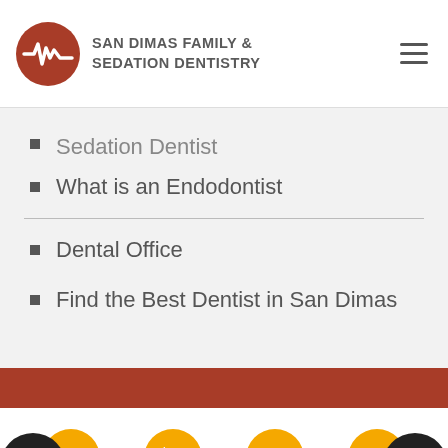SAN DIMAS FAMILY & SEDATION DENTISTRY
Sedation Dentist
What is an Endodontist
Dental Office
Find the Best Dentist in San Dimas
319 N San Dimas Ave Ste D
San Dimas, CA 91773